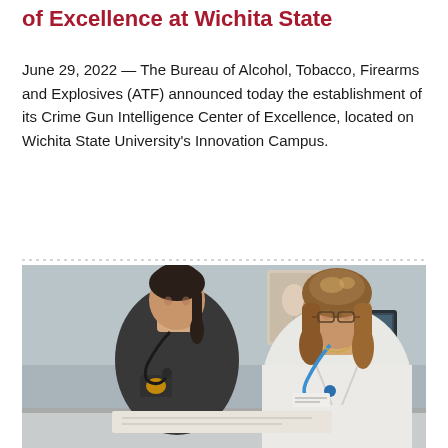of Excellence at Wichita State
June 29, 2022 — The Bureau of Alcohol, Tobacco, Firearms and Explosives (ATF) announced today the establishment of its Crime Gun Intelligence Center of Excellence, located on Wichita State University's Innovation Campus.
[Figure (photo): Two women in a medical or clinical setting. On the left, a younger woman in dark scrubs with a ponytail and a stethoscope, leaning forward. On the right, an older woman in a white lab coat with a blue stethoscope, both looking down at something on a surface. A computer monitor is visible in the background.]